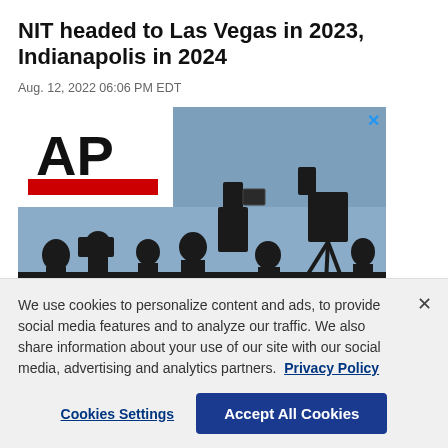NIT headed to Las Vegas in 2023, Indianapolis in 2024
Aug. 12, 2022 06:06 PM EDT
[Figure (photo): AP News advertisement showing silhouettes of camera operators and journalists against a blue sky, with AP logo in top-left corner and text 'AP News on the go' at the bottom]
We use cookies to personalize content and ads, to provide social media features and to analyze our traffic. We also share information about your use of our site with our social media, advertising and analytics partners.  Privacy Policy
Cookies Settings
Accept All Cookies